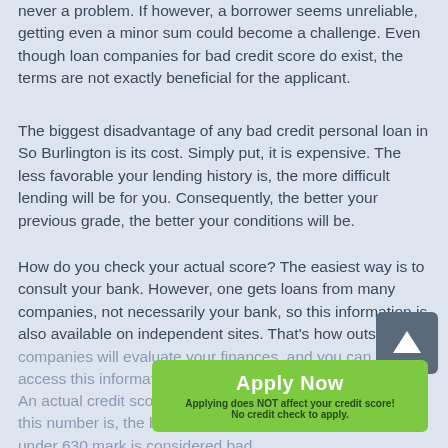never a problem. If however, a borrower seems unreliable, getting even a minor sum could become a challenge. Even though loan companies for bad credit score do exist, the terms are not exactly beneficial for the applicant.
The biggest disadvantage of any bad credit personal loan in So Burlington is its cost. Simply put, it is expensive. The less favorable your lending history is, the more difficult lending will be for you. Consequently, the better your previous grade, the better your conditions will be.
How do you check your actual score? The easiest way is to consult your bank. However, one gets loans from many companies, not necessarily your bank, so this information is also available on independent sites. That's how outside companies will evaluate your finances, and you can easily access this information for free.
An actual credit score is a three-digit number. The higher this number is, the better off you are. Anything that falls under 630 mark is considered bad.
[Figure (other): Scroll-to-top arrow button (dark gray rounded rectangle with white upward arrow)]
[Figure (other): Green Apply Now button with subtext: 'Applying does NOT affect your credit score!' and 'No credit check to apply.']